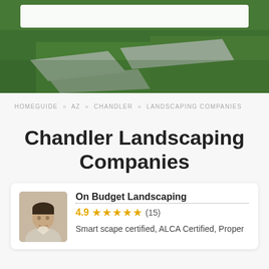[Figure (photo): Hero image showing stone pathway steps on green grass lawn, with a white search bar at the top]
HOMEGUIDE » AZ » CHANDLER » LANDSCAPING COMPANIES
Chandler Landscaping Companies
On Budget Landscaping — 4.9 ★★★★★ (15) — Smart scape certified, ALCA Certified, Proper